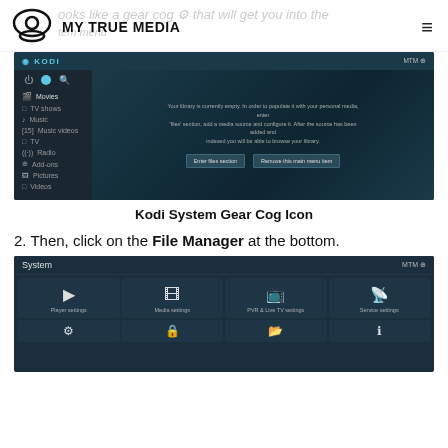MY TRUE MEDIA
[Figure (screenshot): Kodi media center interface showing library empty state with sidebar menu (Movies, TV shows, Music, Music videos, TV, Radio, Add-ons, Pictures, Videos) and main content area with empty library message and two buttons: 'Enter files section' and 'Remove this main menu item']
Kodi System Gear Cog Icon
2. Then, click on the File Manager at the bottom.
[Figure (screenshot): Kodi System settings screen showing tiles for Player settings, Media settings, PVR & Live TV settings, Service settings, and partial bottom row of additional settings tiles]